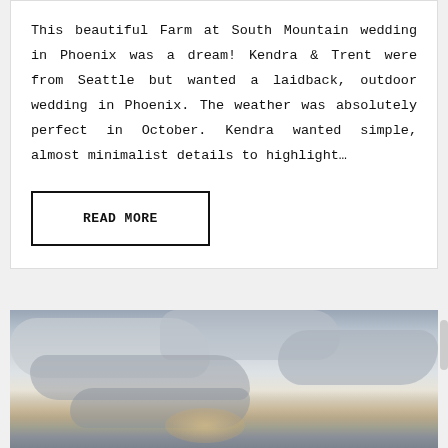This beautiful Farm at South Mountain wedding in Phoenix was a dream! Kendra & Trent were from Seattle but wanted a laidback, outdoor wedding in Phoenix. The weather was absolutely perfect in October. Kendra wanted simple, almost minimalist details to highlight…
READ MORE
[Figure (photo): Photograph of a cloudy sky with sunlight breaking through from below, showing dramatic cloud formations in shades of grey and white with warm golden tones near the horizon.]